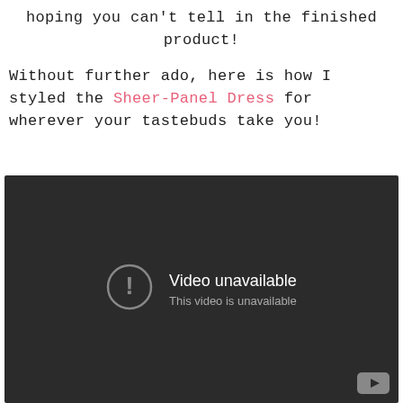hoping you can't tell in the finished product!

Without further ado, here is how I styled the Sheer-Panel Dress for wherever your tastebuds take you!
[Figure (screenshot): Embedded video player showing 'Video unavailable – This video is unavailable' message on a dark background with a YouTube logo in the bottom-right corner.]